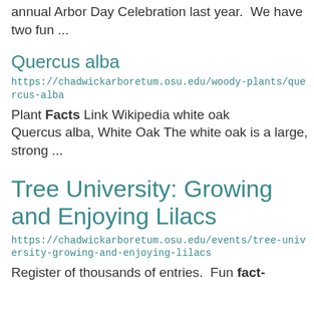annual Arbor Day Celebration last year.  We have two fun ...
Quercus alba
https://chadwickarboretum.osu.edu/woody-plants/quercus-alba
Plant Facts Link Wikipedia white oak
Quercus alba, White Oak The white oak is a large, strong ...
Tree University: Growing and Enjoying Lilacs
https://chadwickarboretum.osu.edu/events/tree-university-growing-and-enjoying-lilacs
Register of thousands of entries.  Fun fact-